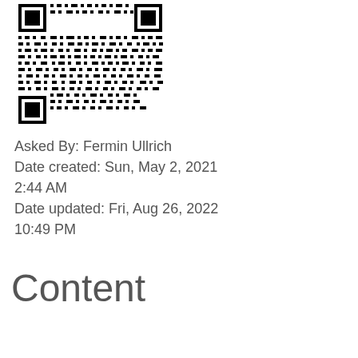[Figure (other): QR code image, black and white, square format]
Asked By: Fermin Ullrich
Date created: Sun, May 2, 2021 2:44 AM
Date updated: Fri, Aug 26, 2022 10:49 PM
Content